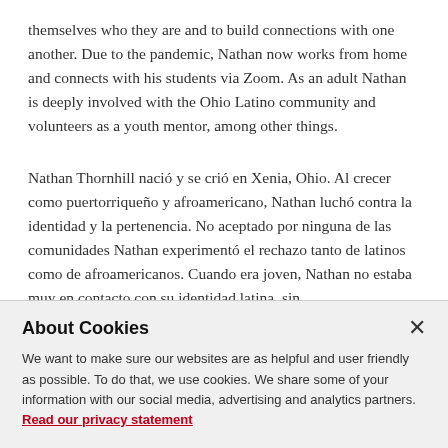themselves who they are and to build connections with one another. Due to the pandemic, Nathan now works from home and connects with his students via Zoom. As an adult Nathan is deeply involved with the Ohio Latino community and volunteers as a youth mentor, among other things.
Nathan Thornhill nació y se crió en Xenia, Ohio. Al crecer como puertorriqueño y afroamericano, Nathan luchó contra la identidad y la pertenencia. No aceptado por ninguna de las comunidades Nathan experimentó el rechazo tanto de latinos como de afroamericanos. Cuando era joven, Nathan no estaba muy en contacto con su identidad latina, sin
About Cookies
We want to make sure our websites are as helpful and user friendly as possible. To do that, we use cookies. We share some of your information with our social media, advertising and analytics partners. Read our privacy statement